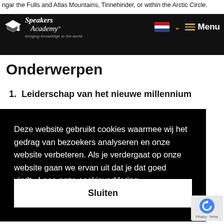ngar the Fulls and Atlas Mountains, Tinnehinder, or within the Arctic Circle.
[Figure (logo): Speakers Academy logo with mortar board icon, italic serif text 'Speakers Academy' and tagline 'bringing knowledge to the world' on dark navigation bar]
Onderwerpen
1.  Leiderschap van het nieuwe millennium
Deze website gebruikt cookies waarmee wij het gedrag van bezoekers analyseren en onze website verbeteren. Als je verdergaat op onze website gaan we ervan uit dat je dat goed vindt.  Lees onze cookieverklaring
Sluiten